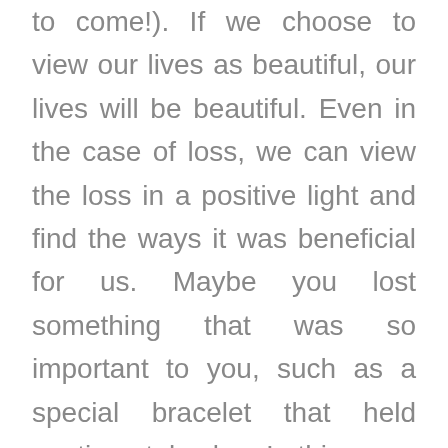to come!). If we choose to view our lives as beautiful, our lives will be beautiful. Even in the case of loss, we can view the loss in a positive light and find the ways it was beneficial for us. Maybe you lost something that was so important to you, such as a special bracelet that held sentimental value. In this case, you can choose to look at the loss and say, “Why am I this upset over a piece of metal? It was beautiful, but in reality, it was just a THING. This situation has taught me